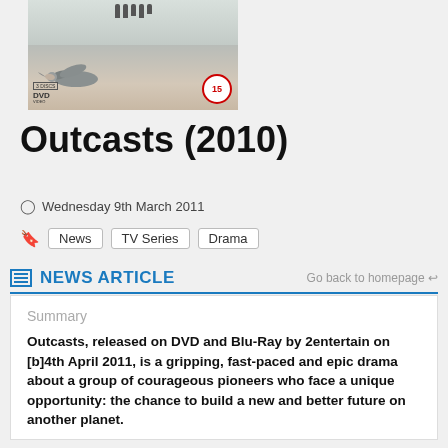[Figure (photo): DVD cover of Outcasts (2010) showing figures on a snowy landscape with a bird in flight, DVD logo bottom left, age rating 15 badge bottom right]
Outcasts (2010)
Wednesday 9th March 2011
News  TV Series  Drama
NEWS ARTICLE
Go back to homepage
Summary
Outcasts, released on DVD and Blu-Ray by 2entertain on [b]4th April 2011, is a gripping, fast-paced and epic drama about a group of courageous pioneers who face a unique opportunity: the chance to build a new and better future on another planet.